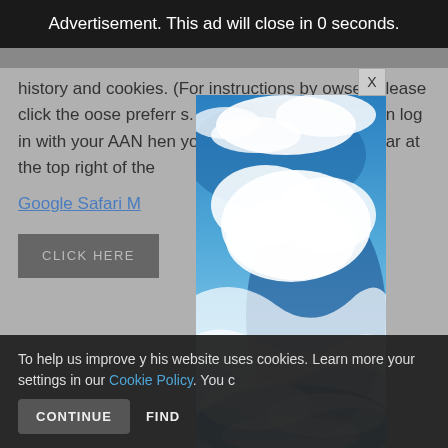Advertisement. This ad will close in 0 seconds.
history and cookies. (For instructions by browser, please click the … choose preferences … s. You will be redirected … d can log in with your AAN … hen you are returned to the … appear at the top right of the …
Google Safari M…
CLICK HERE…
[Figure (photo): Advertisement overlay image showing a blue sky with white clouds, displayed as a tall vertical panel]
To help us improve y… his website uses cookies. Learn more … your settings in our Cookie Policy. You c…
CONTINUE
FIND…